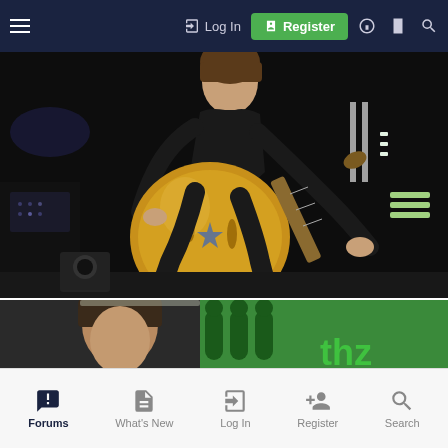Log In  Register
[Figure (photo): A guitarist in black clothing playing a large gold/brass archtop guitar on a dark concert stage, appearing to kneel or lean forward dramatically while playing]
[Figure (photo): A man with dark hair looking downward, with a green screen and text 'thz' visible in the background]
Forums  What's New  Log In  Register  Search